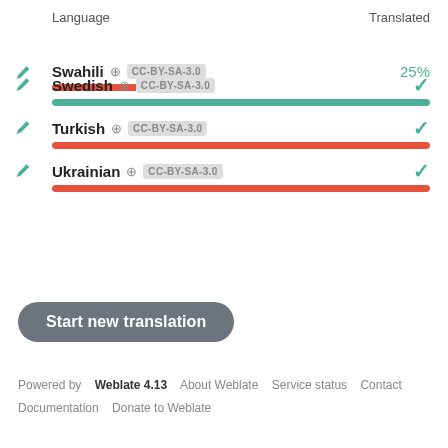| Language | Translated |
| --- | --- |
| Swahili CC-BY-SA-3.0 | 25% |
| Swedish CC-BY-SA-3.0 | ✓ |
| Turkish CC-BY-SA-3.0 | ✓ |
| Ukrainian CC-BY-SA-3.0 | ✓ |
Start new translation
Powered by Weblate 4.13  About Weblate  Service status  Contact  Documentation  Donate to Weblate